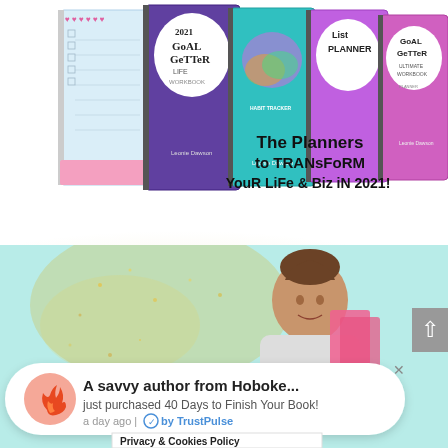[Figure (photo): Photo of spiral-bound planners including '2021 Goal Getter', 'List Planner', workbooks, with handwritten-style text overlay reading 'The Planners to Transform Your Life & Biz in 2021!']
[Figure (photo): Background scene with gold glitter and teal background, partially visible woman with braided hair holding pink paper, overlaid with TrustPulse notification popup and Privacy & Cookies Policy bar]
A savvy author from Hoboke... just purchased 40 Days to Finish Your Book! a day ago | by TrustPulse
Privacy & Cookies Policy